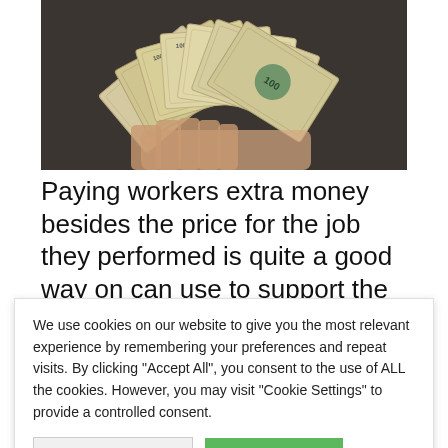[Figure (photo): Hands holding and fanning out US $100 dollar bills against a dark background, viewed from above]
Paying workers extra money besides the price for the job they performed is quite a good way on can use to support the small business
We use cookies on our website to give you the most relevant experience by remembering your preferences and repeat visits. By clicking "Accept All", you consent to the use of ALL the cookies. However, you may visit "Cookie Settings" to provide a controlled consent.